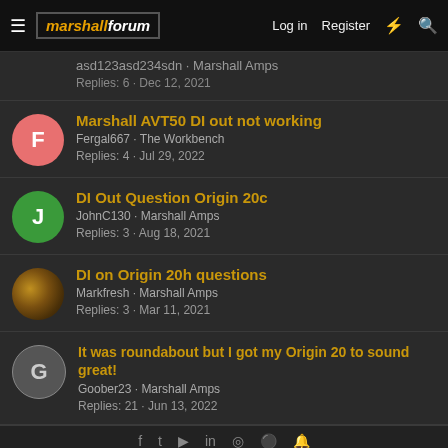marshallforum — Log in  Register
asd123asd234sdn · Marshall Amps
Replies: 6 · Dec 12, 2021
Marshall AVT50 DI out not working
Fergal667 · The Workbench
Replies: 4 · Jul 29, 2022
DI Out Question Origin 20c
JohnC130 · Marshall Amps
Replies: 3 · Aug 18, 2021
DI on Origin 20h questions
Markfresh · Marshall Amps
Replies: 3 · Mar 11, 2021
It was roundabout but I got my Origin 20 to sound great!
Goober23 · Marshall Amps
Replies: 21 · Jun 13, 2022
social icons footer